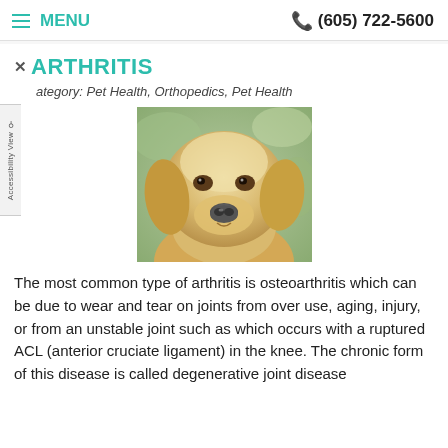MENU | (605) 722-5600
ARTHRITIS
Category: Pet Health, Orthopedics, Pet Health
[Figure (photo): Close-up photo of a golden/yellow Labrador Retriever dog face, looking slightly downward, with a blurred green outdoor background]
The most common type of arthritis is osteoarthritis which can be due to wear and tear on joints from over use, aging, injury, or from an unstable joint such as which occurs with a ruptured ACL (anterior cruciate ligament) in the knee. The chronic form of this disease is called degenerative joint disease